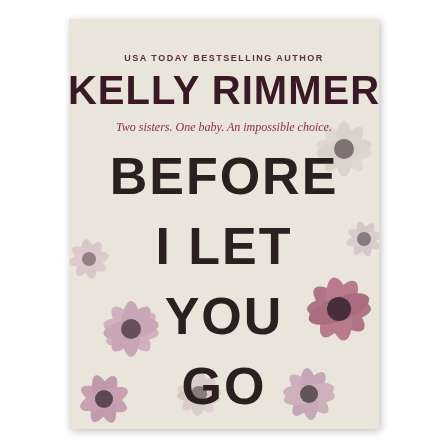[Figure (illustration): Book cover for 'Before I Let You Go' by Kelly Rimmer. Cream/off-white background with blurred pink and white daisy/cosmos flowers scattered across the cover. Dark maroon/brown text at top reads 'USA TODAY BESTSELLING AUTHOR', then large bold 'KELLY RIMMER', then in dark red italic 'Two sisters. One baby. An impossible choice.', then large bold dark text 'BEFORE I LET YOU GO' stacked vertically.]